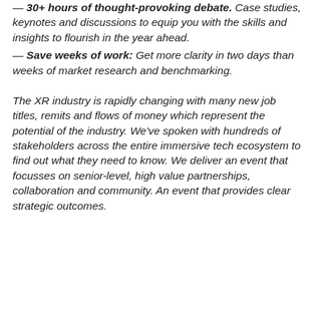— 30+ hours of thought-provoking debate. Case studies, keynotes and discussions to equip you with the skills and insights to flourish in the year ahead.
— Save weeks of work: Get more clarity in two days than weeks of market research and benchmarking.
The XR industry is rapidly changing with many new job titles, remits and flows of money which represent the potential of the industry. We've spoken with hundreds of stakeholders across the entire immersive tech ecosystem to find out what they need to know. We deliver an event that focusses on senior-level, high value partnerships, collaboration and community. An event that provides clear strategic outcomes.